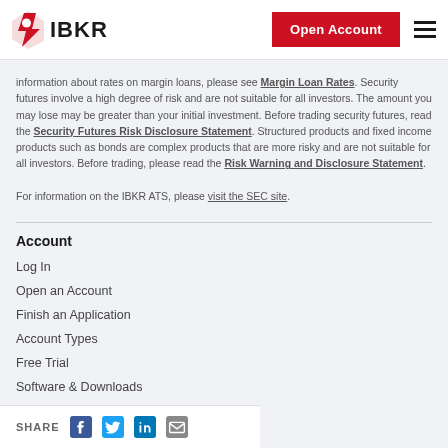IBKR | Open Account
information about rates on margin loans, please see Margin Loan Rates. Security futures involve a high degree of risk and are not suitable for all investors. The amount you may lose may be greater than your initial investment. Before trading security futures, read the Security Futures Risk Disclosure Statement. Structured products and fixed income products such as bonds are complex products that are more risky and are not suitable for all investors. Before trading, please read the Risk Warning and Disclosure Statement.

For information on the IBKR ATS, please visit the SEC site.
Account
Log In
Open an Account
Finish an Application
Account Types
Free Trial
Software & Downloads